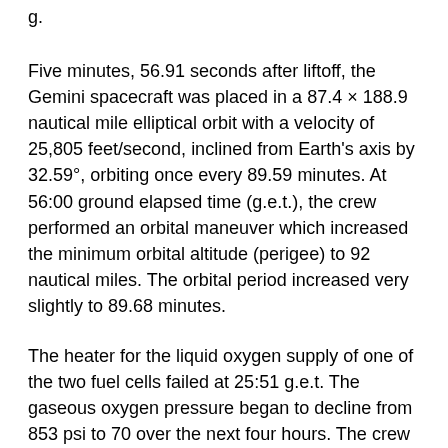g.
Five minutes, 56.91 seconds after liftoff, the Gemini spacecraft was placed in a 87.4 × 188.9 nautical mile elliptical orbit with a velocity of 25,805 feet/second, inclined from Earth's axis by 32.59°, orbiting once every 89.59 minutes. At 56:00 ground elapsed time (g.e.t.), the crew performed an orbital maneuver which increased the minimum orbital altitude (perigee) to 92 nautical miles. The orbital period increased very slightly to 89.68 minutes.
The heater for the liquid oxygen supply of one of the two fuel cells failed at 25:51 g.e.t. The gaseous oxygen pressure began to decline from 853 psi to 70 over the next four hours. The crew powered down he spacecraft until it could be determined that the fuel cells could provide sufficient electrical power to continue the mission. Power was restored slowly over ten orbits.